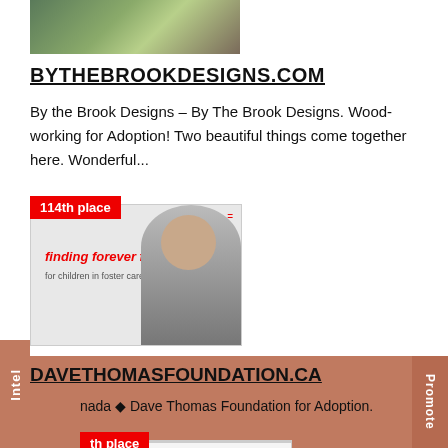[Figure (screenshot): Website screenshot thumbnail for bythebrookdesigns.com showing a wood sign with mountain design]
BYTHEBROOKDESIGNS.COM
By the Brook Designs – By The Brook Designs. Wood-working for Adoption! Two beautiful things come together here. Wonderful...
[Figure (screenshot): Website screenshot for davethomasfoundation.ca showing '114th place' badge and 'finding forever families for children in foster care' text with a person in black and white photo]
DAVETHOMASFOUNDATION.CA
nada ◆ Dave Thomas Foundation for Adoption.
[Figure (screenshot): Partial screenshot showing 'Welcome to BASE-X' text with a woman's photo, partially visible at bottom of page]